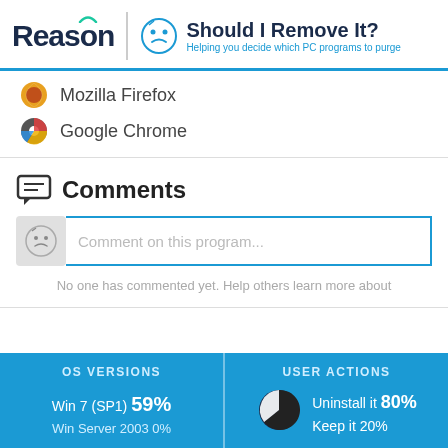Reason | Should I Remove It? Helping you decide which PC programs to purge
Mozilla Firefox
Google Chrome
Comments
Comment on this program...
No one has commented yet. Help others learn more about
[Figure (infographic): OS Versions stats box: Win 7 (SP1) 59%, Win Server 2003 0%]
[Figure (pie-chart): User Actions pie chart: Uninstall it 80%, Keep it 20%]